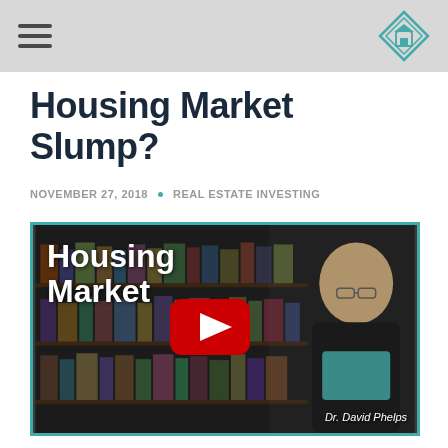Housing Market Slump?
NOVEMBER 27, 2018 · REAL ESTATE INVESTING
[Figure (screenshot): Video thumbnail showing 'Housing Market' text overlay on a bookshelf background with a man (Dr. David Phelps) smiling, and a YouTube play button in the center.]